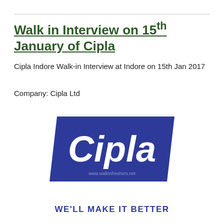Walk in Interview on 15th January of Cipla
Cipla Indore Walk-in Interview at Indore on 15th Jan 2017
Company: Cipla Ltd
[Figure (logo): Cipla company logo — dark blue parallelogram-shaped background with white italic 'Cipla' text and tagline 'WE'LL MAKE IT BETTER' in blue below, watermark www.walkinfreshers.net]